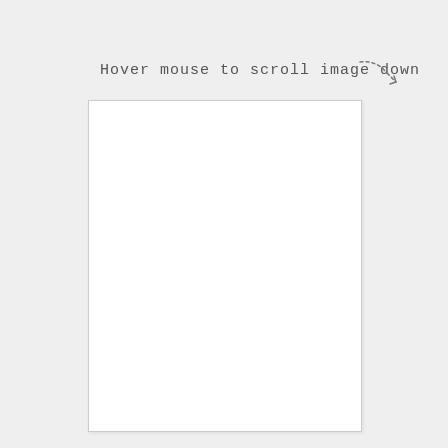Hover mouse to scroll image down
[Figure (illustration): Handwritten arrow curving downward to the right, indicating scroll direction]
[Figure (other): Large white rectangular box with light gray border, representing a scrollable image preview area]